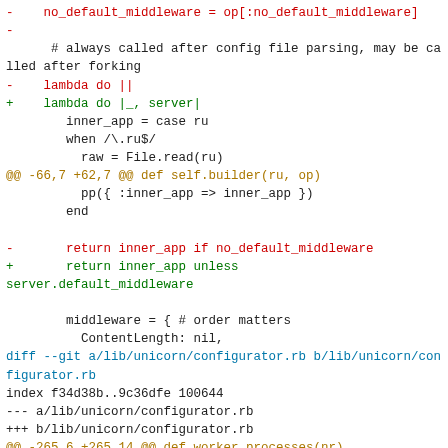[Figure (screenshot): A code diff showing changes to Ruby source files, including unicorn builder and configurator files. Lines prefixed with - are in red (removals) and lines prefixed with + are in green (additions). Diff headers are in gold/cyan.]